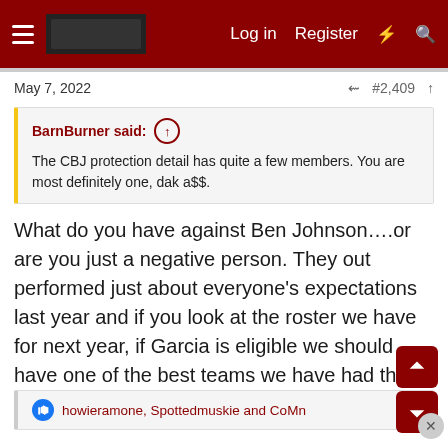Log in  Register
May 7, 2022   #2,409
BarnBurner said:
The CBJ protection detail has quite a few members. You are most definitely one, dak a$$.
What do you have against Ben Johnson….or are you just a negative person. They out performed just about everyone's expectations last year and if you look at the roster we have for next year, if Garcia is eligible we should have one of the best teams we have had the last 10 years with lots of young guys coming in.
howieramone, Spottedmuskie and CoMn